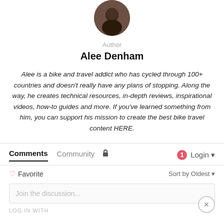[Figure (photo): Circular profile photo of author Alee Denham, dark-toned portrait]
Author
Alee Denham
Alee is a bike and travel addict who has cycled through 100+ countries and doesn't really have any plans of stopping. Along the way, he creates technical resources, in-depth reviews, inspirational videos, how-to guides and more. If you've learned something from him, you can support his mission to create the best bike travel content HERE.
Comments  Community  🔒  1  Login
♡ Favorite   Sort by Oldest ▾
Join the discussion...
LOG IN WITH